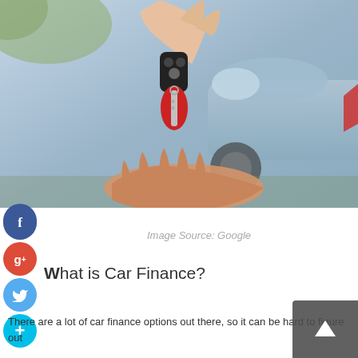[Figure (photo): A person handing a car key with a red fob to another person's open hand, with a silver/blue car visible in the background. Social media share buttons (Facebook, Google+, Twitter, Add) are overlaid on the left side.]
Image Source: Google
What is Car Finance?
There are a lot of car finance options out there, so it can be hard to figure out